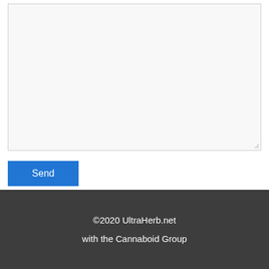[Figure (screenshot): A large empty textarea input box with a light gray background and a resize handle at the bottom-right corner]
[Figure (screenshot): A blue 'Send' button with white text]
©2020 UltraHerb.net
with the Cannaboid Group